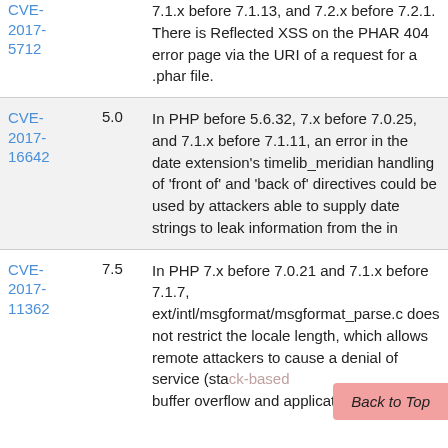| CVE ID | Score | Description |
| --- | --- | --- |
| CVE-2017-5712 | 7.1.x before 7.1.13, and 7.2.x before 7.2.1. There is Reflected XSS on the PHAR 404 error page via the URI of a request for a .phar file. |  |
| CVE-2017-16642 | 5.0 | In PHP before 5.6.32, 7.x before 7.0.25, and 7.1.x before 7.1.11, an error in the date extension's timelib_meridian handling of 'front of' and 'back of' directives could be used by attackers able to supply date strings to leak information from the in |
| CVE-2017-11362 | 7.5 | In PHP 7.x before 7.0.21 and 7.1.x before 7.1.7, ext/intl/msgformat/msgformat_parse.c does not restrict the locale length, which allows remote attackers to cause a denial of service (stack-based buffer overflow and application crash) |